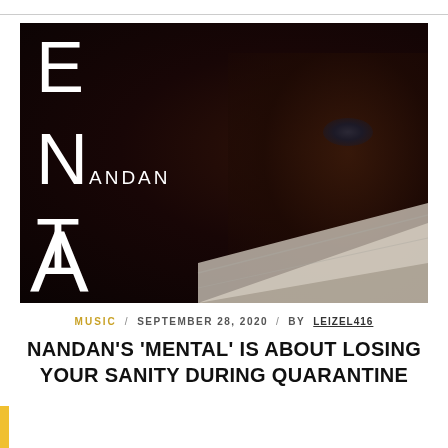[Figure (photo): Dark atmospheric photo of a person wearing a white face mask, with large stylized letters E, N (with ANDAN), T, A overlaid on the left side in white. The image is very dark with browns and blacks dominant.]
MUSIC / SEPTEMBER 28, 2020 / BY LEIZEL416
NANDAN'S 'MENTAL' IS ABOUT LOSING YOUR SANITY DURING QUARANTINE